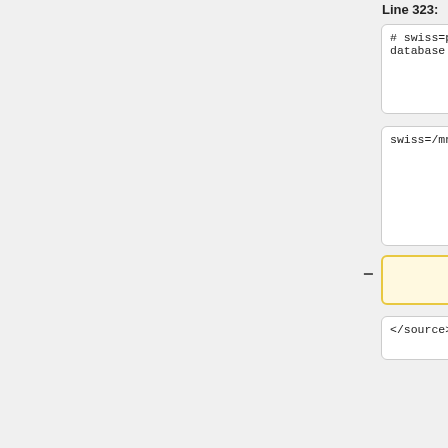Line 323:
Line 324:
# swiss=path - path to SwissProt database
# swiss=path - path to SwissProt database
swiss=/mnt/project/pracstrucfunc13/data/swissprot/uniprot_sprot
swiss=/mnt/project/pracstrucfunc13/data/swissprot/uniprot_sprot
</source>
</source>
SNAP2 was then excuted with the following command:
snapfun -i Q30201.fasta -m mutations.txt -o results.txt
where mutations.txt is a file that contains